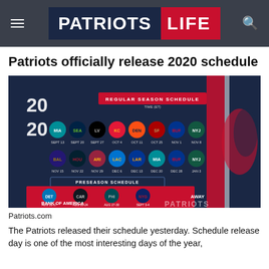Patriots Life
Patriots officially release 2020 schedule
[Figure (infographic): New England Patriots 2020 Regular Season and Preseason Schedule graphic showing team logos, dates, and times for all games. Regular Season opponents include Dolphins, Seahawks, Raiders, Chiefs, Broncos, 49ers, Bills, Jets (row 1) and Ravens, Texans, Cardinals, Chargers, Rams, Dolphins, Bills, Jets (row 2). Preseason opponents include Lions, Panthers, Eagles, Giants. Sponsored by Bank of America.]
Patriots.com
The Patriots released their schedule yesterday. Schedule release day is one of the most interesting days of the year,